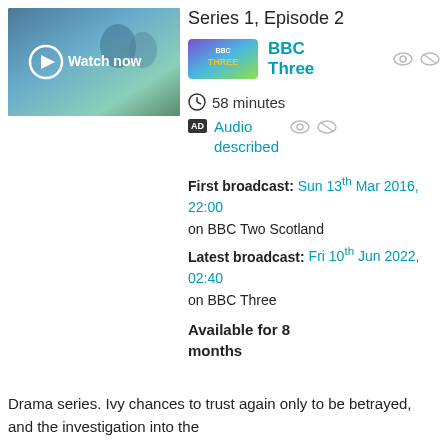[Figure (screenshot): BBC iPlayer thumbnail showing a scene with two people and a 'Watch now' button overlay]
Series 1, Episode 2
BBC Three
58 minutes
Audio described
First broadcast: Sun 13th Mar 2016, 22:00 on BBC Two Scotland
Latest broadcast: Fri 10th Jun 2022, 02:40 on BBC Three
Available for 8 months
Drama series. Ivy chances to trust again only to be betrayed, and the investigation into the